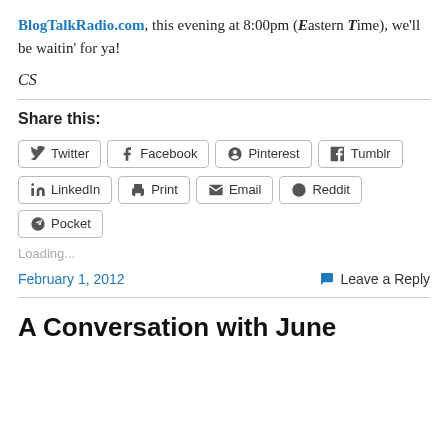BlogTalkRadio.com, this evening at 8:00pm (Eastern Time), we'll be waitin' for ya!
CS
Share this:
Twitter  Facebook  Pinterest  Tumblr  LinkedIn  Print  Email  Reddit  Pocket
Loading...
February 1, 2012    Leave a Reply
A Conversation with June